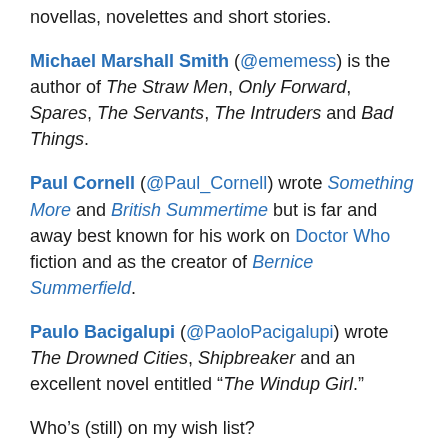novellas, novelettes and short stories.
Michael Marshall Smith (@ememess) is the author of The Straw Men, Only Forward, Spares, The Servants, The Intruders and Bad Things.
Paul Cornell (@Paul_Cornell) wrote Something More and British Summertime but is far and away best known for his work on Doctor Who fiction and as the creator of Bernice Summerfield.
Paulo Bacigalupi (@PaoloPacigalupi) wrote The Drowned Cities, Shipbreaker and an excellent novel entitled “The Windup Girl.”
Who’s (still) on my wish list?
Stephen King. Terry Pratchett, though his Alzheimer’s